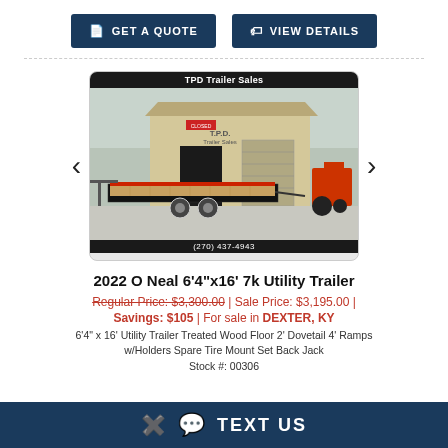GET A QUOTE
VIEW DETAILS
[Figure (photo): Photo of a 2022 O Neal 6'4"x16' 7k Utility Trailer parked in front of TPD Trailer Sales building. Phone number (270) 437-4943 shown at bottom.]
2022 O Neal 6'4"x16' 7k Utility Trailer
Regular Price: $3,300.00 | Sale Price: $3,195.00 | Savings: $105 | For sale in DEXTER, KY
6'4" x 16' Utility Trailer Treated Wood Floor 2' Dovetail 4' Ramps w/Holders Spare Tire Mount Set Back Jack
Stock #: 00306
TEXT US